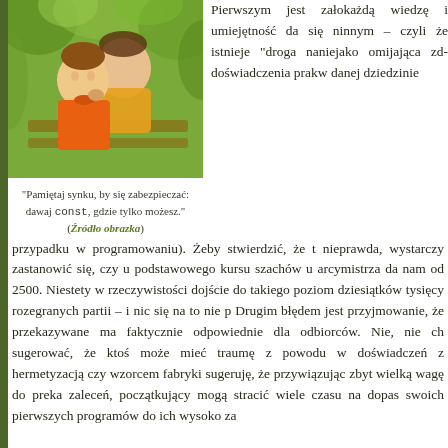[Figure (photo): Photo of a smiling boy in orange shirt with an adult leaning on his shoulder, sitting outdoors on a bench with green foliage in background.]
"Pamiętaj synku, by się zabezpieczać: dawaj const, gdzie tylko możesz."
(Źródło obrazka)
Pierwszym jest założenie, że każdą wiedzę i umiejętność da się nauczyć innym – czyli że istnieje "droga na skróty" niejako omijająca zdobywanie doświadczenia praktycznego w danej dziedzinie (w naszym przypadku w programowaniu). Żeby stwierdzić, że to nieprawda, wystarczy zastanowić się, czy ukończenie podstawowego kursu szachów u arcymistrza da nam od razu ranking 2500. Niestety w rzeczywistości dojście do takiego poziomu wymaga dziesiątków tysięcy rozegranych partii – i nic się na to nie poradzi. Drugim błędem jest przyjmowanie, że przekazywane materiały są faktycznie odpowiednie dla odbiorców. Nie, nie chodzi mi tu sugerować, że ktoś może mieć traumę z powodu wcześniejszych doświadczeń z hermetyzacją czy wzorcem fabryki abstrakcyjnej. sugeruję, że przywiązując zbyt wielką wagę do przekazywanych zaleceń, początkujący mogą stracić wiele czasu na dopasowywanie swoich pierwszych programów do ich wysoko za